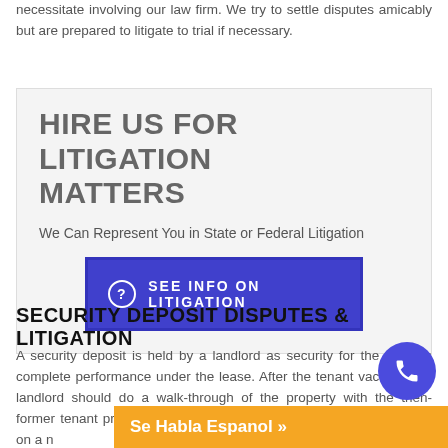necessitate involving our law firm. We try to settle disputes amicably but are prepared to litigate to trial if necessary.
HIRE US FOR LITIGATION MATTERS
We Can Represent You in State or Federal Litigation
SEE INFO ON LITIGATION
SECURITY DEPOSIT DISPUTES & LITIGATION
A security deposit is held by a landlord as security for the tenant's complete performance under the lease. After the tenant vacates, the landlord should do a walk-through of the property with the then-former tenant present. Any damage to the property should be noted on a m...